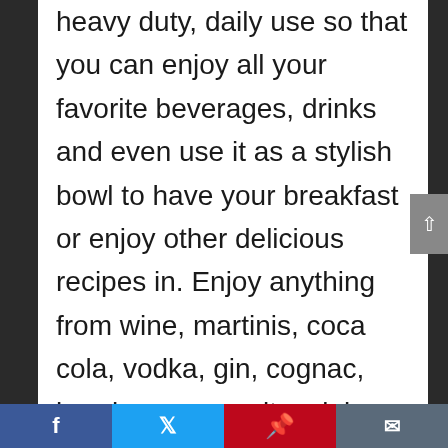heavy duty, daily use so that you can enjoy all your favorite beverages, drinks and even use it as a stylish bowl to have your breakfast or enjoy other delicious recipes in. Enjoy anything from wine, martinis, coca cola, vodka, gin, cognac, bourbon, margaritas, juices, soda to simply refreshing water with our premium glass set. Plus, their sleek, attractive design will make for killer presentation on any party or festive occasion!
100% DISHWASHER SAFE: There's a reason why all of our customers
Facebook | Twitter | Pinterest | Email